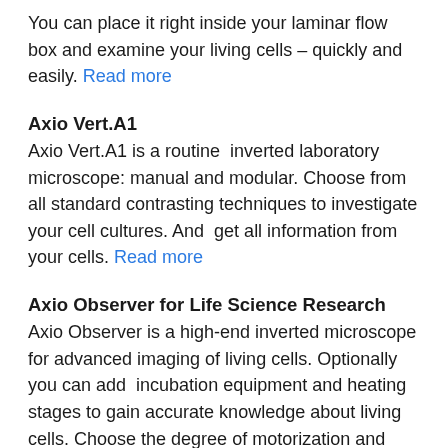You can place it right inside your laminar flow box and examine your living cells – quickly and easily. Read more
Axio Vert.A1
Axio Vert.A1 is a routine  inverted laboratory microscope: manual and modular. Choose from all standard contrasting techniques to investigate your cell cultures. And  get all information from your cells. Read more
Axio Observer for Life Science Research
Axio Observer is a high-end inverted microscope for advanced imaging of living cells. Optionally you can add  incubation equipment and heating stages to gain accurate knowledge about living cells. Choose the degree of motorization and automation that your experiments need and stay focused on your scientific questions… Read more